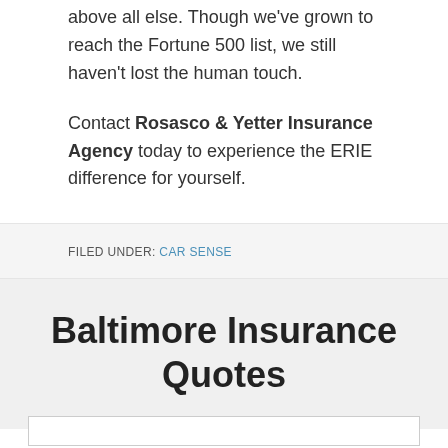above all else. Though we've grown to reach the Fortune 500 list, we still haven't lost the human touch.
Contact Rosasco & Yetter Insurance Agency today to experience the ERIE difference for yourself.
FILED UNDER: CAR SENSE
Baltimore Insurance Quotes